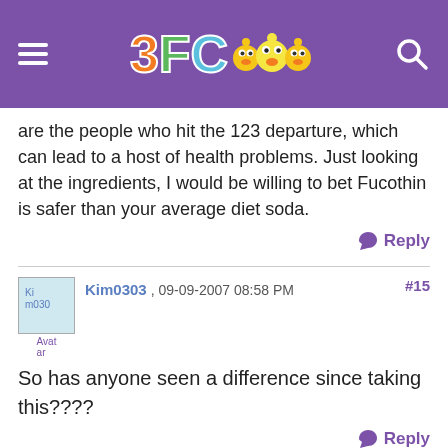[Figure (logo): 3FC website logo with orange 3, green F, blue C and chick emojis on purple header bar with hamburger menu and search icon]
are the people who hit the 123 departure, which can lead to a host of health problems. Just looking at the ingredients, I would be willing to bet Fucothin is safer than your average diet soda.
Reply
Kim0303 , 09-09-2007 08:58 PM #15
So has anyone seen a difference since taking this????
Reply
Reply
LA Weight Loss